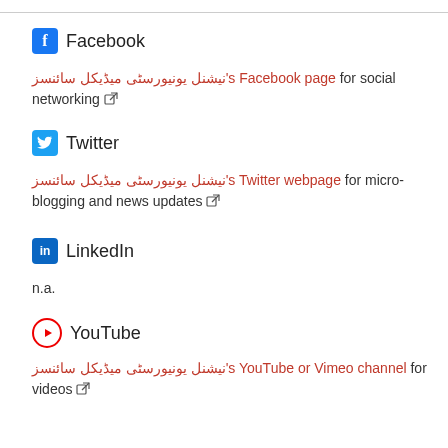Facebook
نیشنل یونیورسٹی میڈیکل سائنسز's Facebook page for social networking
Twitter
نیشنل یونیورسٹی میڈیکل سائنسز's Twitter webpage for micro-blogging and news updates
LinkedIn
n.a.
YouTube
نیشنل یونیورسٹی میڈیکل سائنسز's YouTube or Vimeo channel for videos